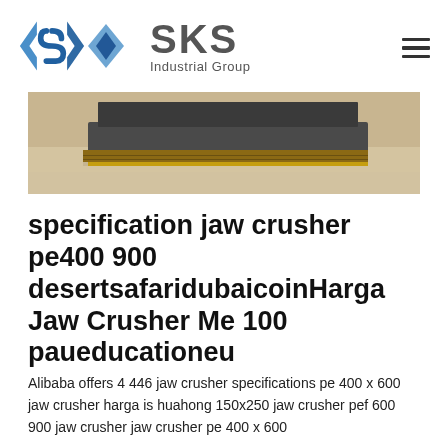[Figure (logo): SKS Industrial Group logo with diamond S icon in blue and grey text]
[Figure (photo): Close-up photo of industrial jaw crusher machine base on concrete floor]
specification jaw crusher pe400 900 desertsafaridubaicoinHarga Jaw Crusher Me 100 paueducationeu
Alibaba offers 4 446 jaw crusher specifications pe 400 x 600 jaw crusher harga is huahong 150x250 jaw crusher pef 600 900 jaw crusher jaw crusher pe 400 x 600